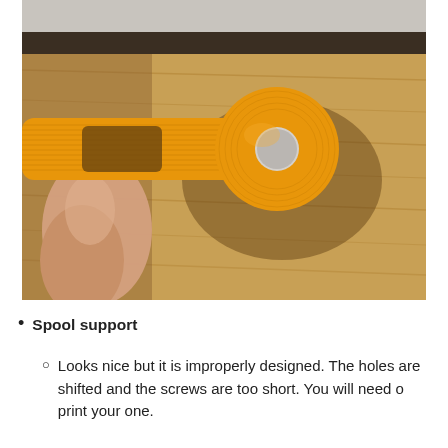[Figure (photo): A yellow 3D-printed spool support part being held by a person's fingers over a wooden surface. The part is orange-yellow and has a circular end with a small hole and a notch or slot cut into it.]
Spool support
Looks nice but it is improperly designed. The holes are shifted and the screws are too short. You will need o print your one.